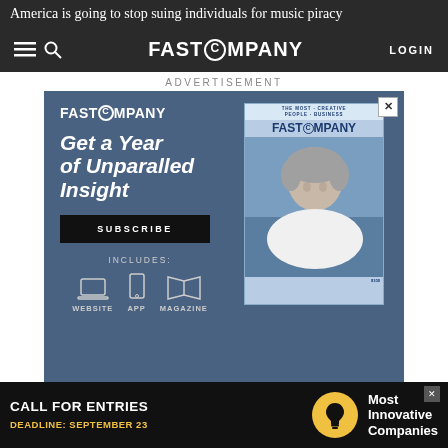America is going to stop suing individuals for music piracy
FAST COMPANY — LOGIN
ADVERTISEMENT
[Figure (infographic): Fast Company subscription advertisement. Text reads: FAST COMPANY. Get a Year of Unparalled Insight. SUBSCRIBE. INCLUDES: WEBSITE APP MAGAZINE. Shows magazine cover with woman and text The Most Creative People Business.]
There are 35,000 actions against individuals in the murky legal history of the RIAA, and it has created an
[Figure (infographic): Bottom banner ad: CALL FOR ENTRIES. DEADLINE: SEPTEMBER 23. Lightbulb icon. Most Innovative Companies.]